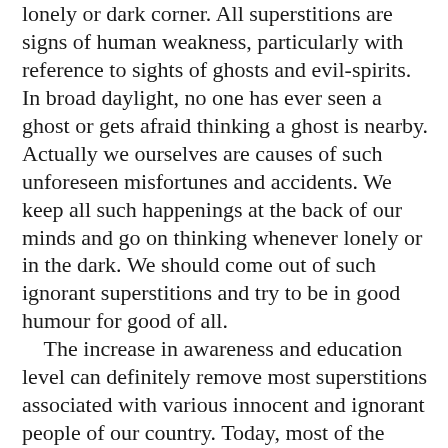lonely or dark corner. All superstitions are signs of human weakness, particularly with reference to sights of ghosts and evil-spirits. In broad daylight, no one has ever seen a ghost or gets afraid thinking a ghost is nearby. Actually we ourselves are causes of such unforeseen misfortunes and accidents. We keep all such happenings at the back of our minds and go on thinking whenever lonely or in the dark. We should come out of such ignorant superstitions and try to be in good humour for good of all. The increase in awareness and education level can definitely remove most superstitions associated with various innocent and ignorant people of our country. Today, most of the educated youth do not pay any attention to such superstitions and treat it all as nonsense. But in some people, these superstitions are so deeply rooted that any kind of convincing would do nothing to remove their superstitious faiths. Even in some other countries the number thirteen is regarded as very inauspicious. People don't like to be associated with this number. So we have superstitions not only in